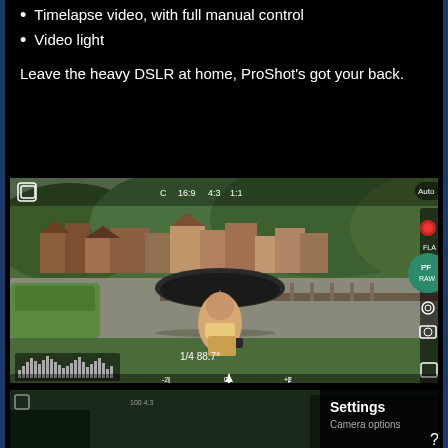Timelapse video, with full manual control
Video light
Leave the heavy DSLR at home, ProShot's got your back.
[Figure (screenshot): ProShot camera app interface showing a scenic hillside town with buildings and lush greenery. A woman holding an umbrella stands in the foreground. UI overlay shows camera controls including aspect ratio buttons (C, 16:9, 4:3, 1:1), a green PF/RAW shutter button, record button, flash controls, settings icon, and a histogram display at bottom left. Exposure information 1/4, 88.7 shown.]
[Figure (screenshot): ProShot camera app partially visible at bottom, showing a dark/night view of the same scene with a Settings panel visible on the right side showing 'Settings' and 'Camera options' text.]